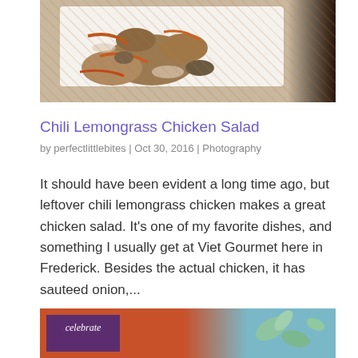[Figure (photo): Photo of chili lemongrass chicken salad in a white takeout container, showing pieces of chicken with sauteed onions and carrots in sauce]
Chili Lemongrass Chicken Salad
by perfectlittlebites | Oct 30, 2016 | Photography
It should have been evident a long time ago, but leftover chili lemongrass chicken makes a great chicken salad. It's one of my favorite dishes, and something I usually get at Viet Gourmet here in Frederick. Besides the actual chicken, it has sauteed onion,...
[Figure (photo): Partial view of a second blog post image with orange/terracotta background, a purple celebrate box with cursive text, and teal/blue decorative elements with leaves]